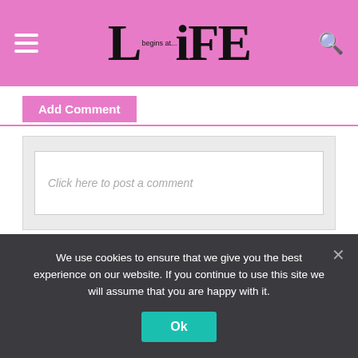Life begins at... LIFE
Add Comment
Click here to post a comment
Looking for something?
Type here to search...
We use cookies to ensure that we give you the best experience on our website. If you continue to use this site we will assume that you are happy with it.